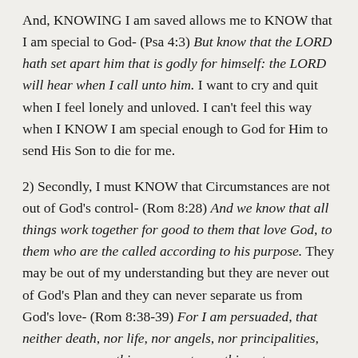And, KNOWING I am saved allows me to KNOW that I am special to God- (Psa 4:3) But know that the LORD hath set apart him that is godly for himself: the LORD will hear when I call unto him. I want to cry and quit when I feel lonely and unloved. I can't feel this way when I KNOW I am special enough to God for Him to send His Son to die for me.
2) Secondly, I must KNOW that Circumstances are not out of God's control- (Rom 8:28) And we know that all things work together for good to them that love God, to them who are the called according to his purpose. They may be out of my understanding but they are never out of God's Plan and they can never separate us from God's love- (Rom 8:38-39) For I am persuaded, that neither death, nor life, nor angels, nor principalities, nor powers, nor things present, nor things to come, (39) Nor